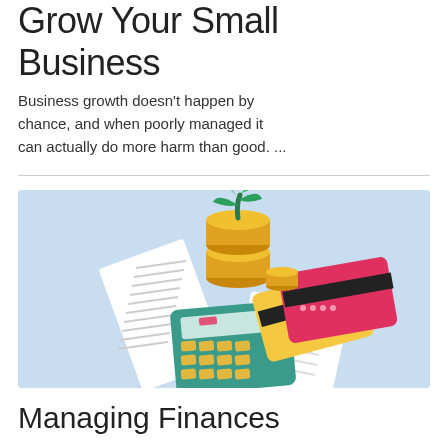Grow Your Small Business
Business growth doesn't happen by chance, and when poorly managed it can actually do more harm than good. ...
[Figure (illustration): Illustration on a light blue background showing a green calculator, stacks of gold coins with a small plant sprouting from them, paper receipts, a yellow credit card, and a red/pink credit card arranged together.]
Managing Finances